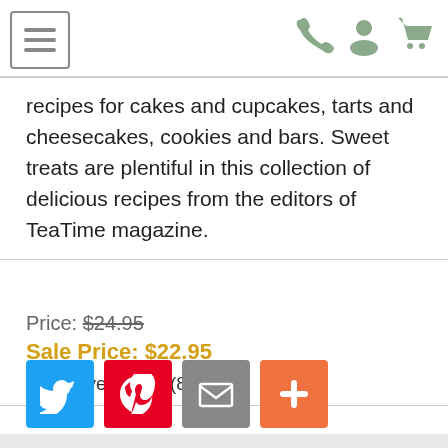Navigation header with menu icon and user/cart icons
recipes for cakes and cupcakes, tarts and cheesecakes, cookies and bars. Sweet treats are plentiful in this collection of delicious recipes from the editors of TeaTime magazine.
Price: $24.95
Sale Price: $22.95
You Save: $2.00 (8 %)
Quantity: 1
ADD ITEM TO CART
[Figure (other): Social sharing buttons: Twitter (blue), Pinterest (red), Email (gray), More/Plus (orange-red)]